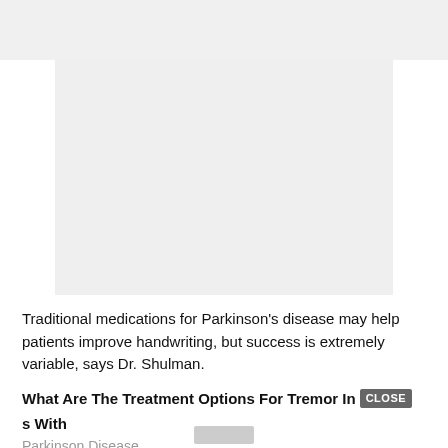[Figure (photo): Gray placeholder image area representing a photo related to Parkinson's disease handwriting or treatment]
Traditional medications for Parkinson's disease may help patients improve handwriting, but success is extremely variable, says Dr. Shulman.
What Are The Treatment Options For Tremor In [CLOSE] s With Parkinson Disease